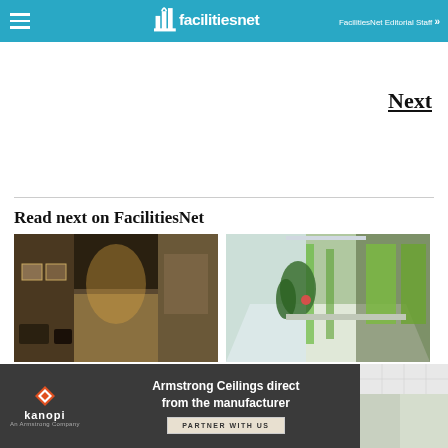facilitiesnet | FacilitiesNet Editorial Staff »
Next
Read next on FacilitiesNet
[Figure (photo): Interior office corridor with warm lighting, framed artwork on walls, and chairs in waiting area]
[Figure (photo): Modern office interior with plants, glass walls, green accents, and open workspace]
[Figure (photo): Armstrong Ceilings office photo — ceiling tile interior]
Armstrong Ceilings direct from the manufacturer PARTNER WITH US